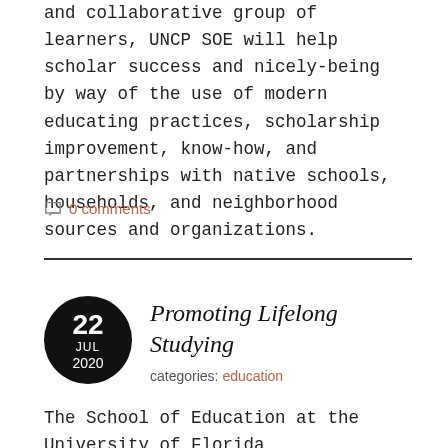and collaborative group of learners, UNCP SOE will help scholar success and nicely-being by way of the use of modern educating practices, scholarship improvement, know-how, and partnerships with native schools, households, and neighborhood sources and organizations.
0 comments
Promoting Lifelong Studying
categories: education
The School of Education at the University of Florida